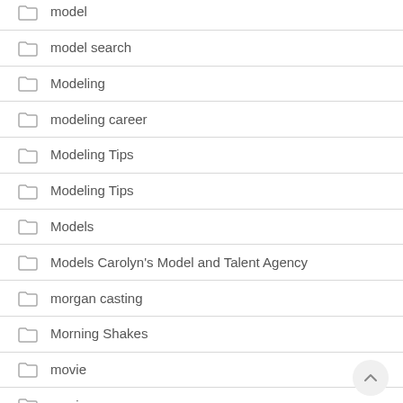model
model search
Modeling
modeling career
Modeling Tips
Modeling Tips
Models
Models Carolyn's Model and Talent Agency
morgan casting
Morning Shakes
movie
movies